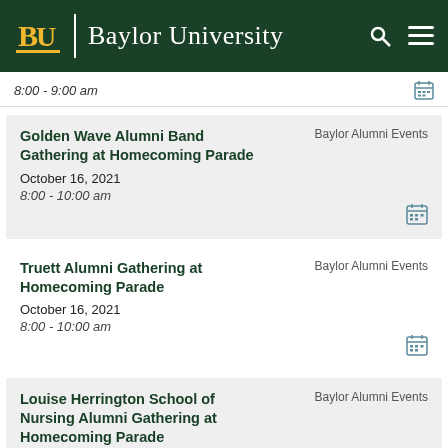Baylor University
8:00 - 9:00 am
Golden Wave Alumni Band Gathering at Homecoming Parade
Baylor Alumni Events
October 16, 2021
8:00 - 10:00 am
Truett Alumni Gathering at Homecoming Parade
Baylor Alumni Events
October 16, 2021
8:00 - 10:00 am
Louise Herrington School of Nursing Alumni Gathering at Homecoming Parade
Baylor Alumni Events
October 16, 2021
8:00 - 10:00 am
School of Music Alumni Gathering at
Baylor Alumni Events